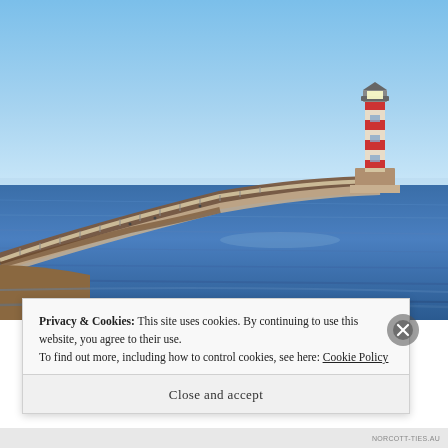[Figure (photo): Photograph of a coastal pier or breakwater extending into calm blue sea, with a red-and-white striped lighthouse at the end. Clear blue sky in the background.]
Privacy & Cookies: This site uses cookies. By continuing to use this website, you agree to their use.
To find out more, including how to control cookies, see here: Cookie Policy
Close and accept